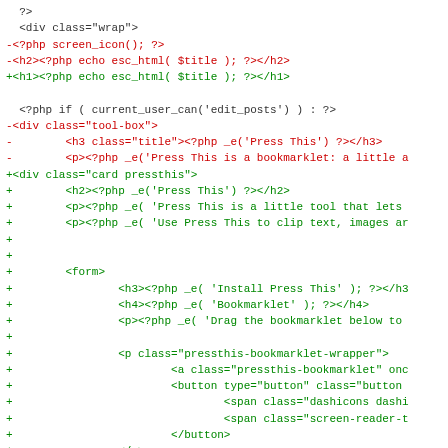[Figure (screenshot): A code diff screenshot showing PHP/HTML code changes. Red lines (prefixed with -) show removed code and green lines (prefixed with +) show added code. The diff includes changes to div classes, headings, and form elements related to a 'Press This' WordPress feature.]